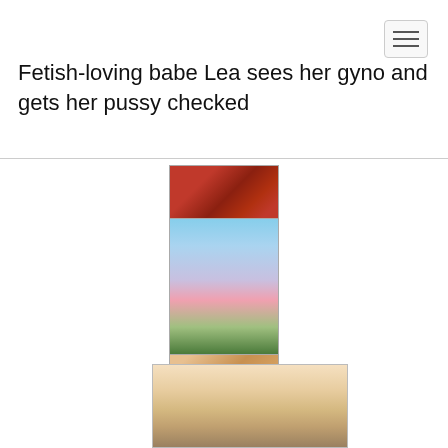[Figure (other): Navigation hamburger menu button in top right corner]
Fetish-loving babe Lea sees her gyno and gets her pussy checked
[Figure (illustration): Animated/illustrated images stacked vertically in center of page]
[Figure (photo): Photo of a blonde woman at bottom of page]